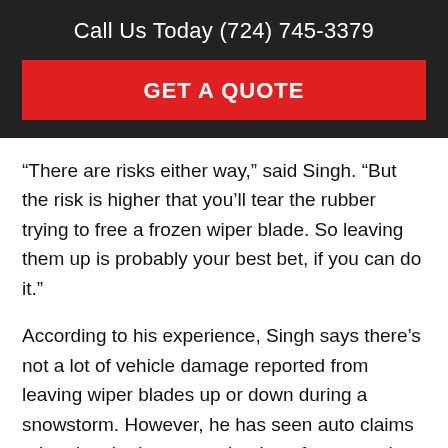Call Us Today (724) 745-3379
GET A QUOTE
“There are risks either way,” said Singh. “But the risk is higher that you’ll tear the rubber trying to free a frozen wiper blade. So leaving them up is probably your best bet, if you can do it.”
According to his experience, Singh says there’s not a lot of vehicle damage reported from leaving wiper blades up or down during a snowstorm. However, he has seen auto claims related to the improper clearing of snow and ice.